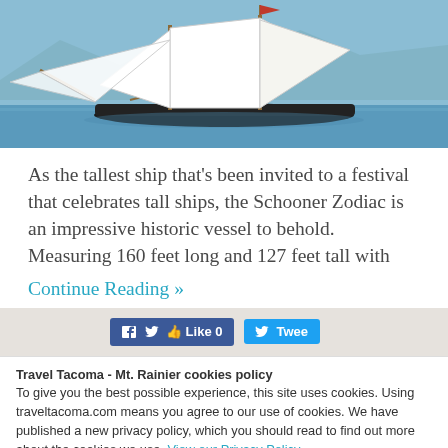[Figure (photo): A large white-sailed schooner sailing on calm blue water with mountains in background]
As the tallest ship that’s been invited to a festival that celebrates tall ships, the Schooner Zodiac is an impressive historic vessel to behold. Measuring 160 feet long and 127 feet tall with
Continue Reading »
[Figure (screenshot): Social share bar with Facebook Like 0 button and Twitter Tweet button]
Travel Tacoma - Mt. Rainier cookies policy
To give you the best possible experience, this site uses cookies. Using traveltacoma.com means you agree to our use of cookies. We have published a new privacy policy, which you should read to find out more about the cookies we use. View our Privacy Policy
I understand